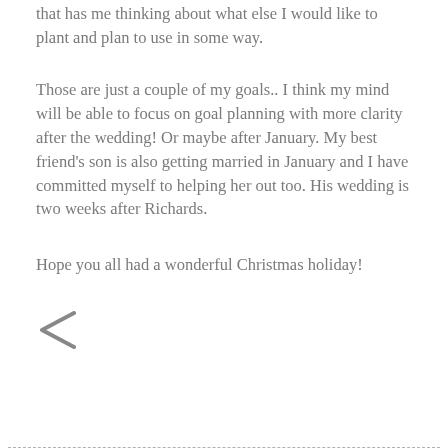that has me thinking about what else I would like to plant and plan to use in some way.
Those are just a couple of my goals.. I think my mind will be able to focus on goal planning with more clarity after the wedding!  Or maybe after January.  My best friend’s son is also getting married in January and I have committed myself to helping her out too.  His wedding is two weeks after Richards.
Hope you all had a wonderful Christmas holiday!
[Figure (other): Share icon (less-than symbol used as share button)]
dashed horizontal line separator